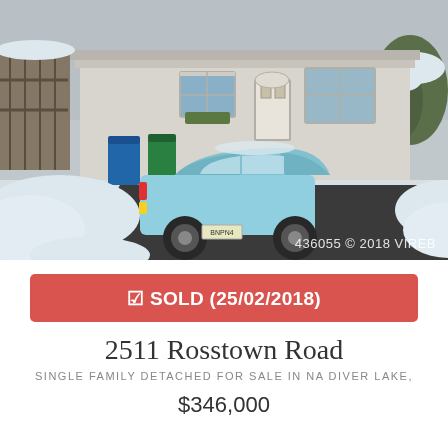[Figure (photo): Exterior photo of a single-family home in winter with snow on the ground. A light blue hatchback car is parked in the driveway. The house is a white/grey single-story structure. A watermark reads '436055 © 2018 VIREB'.]
☑ SOLD (25/02/2018)
2511 Rosstown Road
SINGLE FAMILY DETACHED FOR SALE IN NA DIVER LAKE,
$346,000